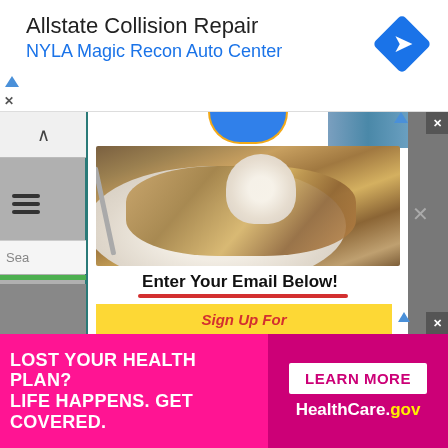[Figure (screenshot): Top advertisement banner for Allstate Collision Repair with blue navigation diamond icon]
Allstate Collision Repair
NYLA Magic Recon Auto Center
[Figure (screenshot): Browser viewport showing food recipe website with pasta dish image, 'Enter Your Email Below!' heading with red underline, and yellow Sign Up button]
Enter Your Email Below!
Sign Up For
[Figure (screenshot): Bottom advertisement banner: pink background with 'LOST YOUR HEALTH PLAN? LIFE HAPPENS. GET COVERED.' on left; 'LEARN MORE' button and 'HealthCare.gov' logo on right]